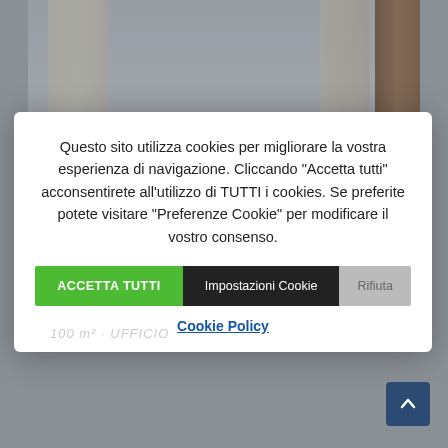[Figure (photo): Interior room photo showing curtains, window with light, and a wooden door on the right]
Questo sito utilizza cookies per migliorare la vostra esperienza di navigazione. Cliccando "Accetta tutti" acconsentirete all'utilizzo di TUTTI i cookies. Se preferite potete visitare "Preferenze Cookie" per modificare il vostro consenso.
ACCETTA TUTTI
Impostazioni Cookie
Rifiuta
Cookie Policy